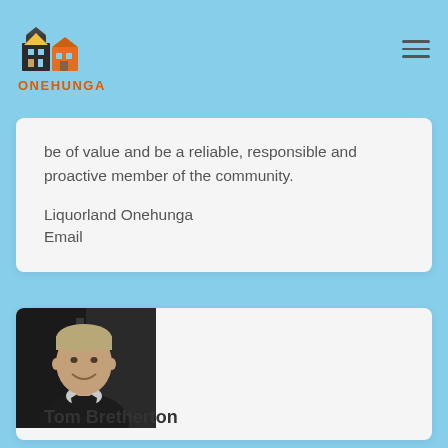ONEHUNGA
be of value and be a reliable, responsible and proactive member of the community.
Liquorland Onehunga
Email
[Figure (photo): Portrait photo of Tom Bretherton, a middle-aged man smiling, wearing a dark sweater over a light collared shirt, photographed indoors.]
Tom Bretherton